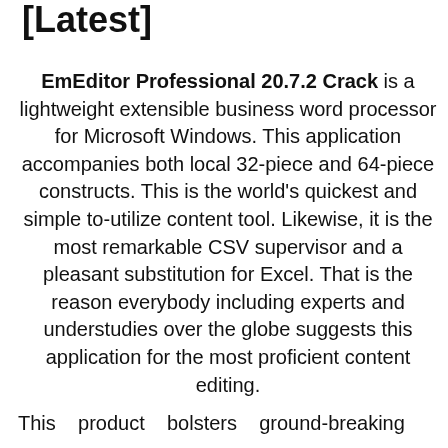[Latest]
EmEditor Professional 20.7.2 Crack is a lightweight extensible business word processor for Microsoft Windows. This application accompanies both local 32-piece and 64-piece constructs. This is the world's quickest and simple to-utilize content tool. Likewise, it is the most remarkable CSV supervisor and a pleasant substitution for Excel. That is the reason everybody including experts and understudies over the globe suggests this application for the most proficient content editing.
This product bolsters ground-breaking